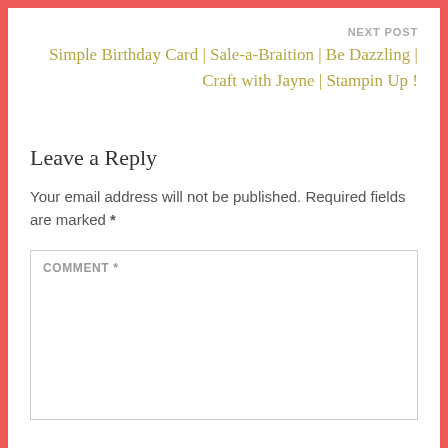NEXT POST
Simple Birthday Card | Sale-a-Braition | Be Dazzling | Craft with Jayne | Stampin Up !
Leave a Reply
Your email address will not be published. Required fields are marked *
COMMENT *